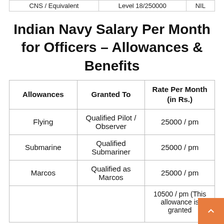| CNS / Equivalent | Level 18/250000 | NIL |
Indian Navy Salary Per Month for Officers – Allowances & Benefits
| Allowances | Granted To | Rate Per Month (in Rs.) |
| --- | --- | --- |
| Flying | Qualified Pilot / Observer | 25000 / pm |
| Submarine | Qualified Submariner | 25000 / pm |
| Marcos | Qualified as Marcos | 25000 / pm |
|  |  | 10500 / pm (This allowance is granted |